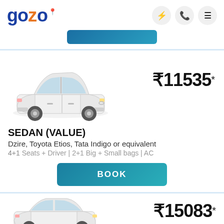[Figure (logo): Gozo logo with blue and orange text and location pin icon]
[Figure (screenshot): Navigation icons: lightning bolt, phone, hamburger menu]
[Figure (other): Teal blue booking button (partial, top of page)]
[Figure (photo): White sedan car (Toyota Etios style)]
₹11535*
SEDAN (VALUE)
Dzire, Toyota Etios, Tata Indigo or equivalent
4+1 Seats + Driver | 2+1 Big + Small bags | AC
[Figure (other): Teal BOOK button]
[Figure (photo): White sedan car (partial, bottom of page)]
₹15083*